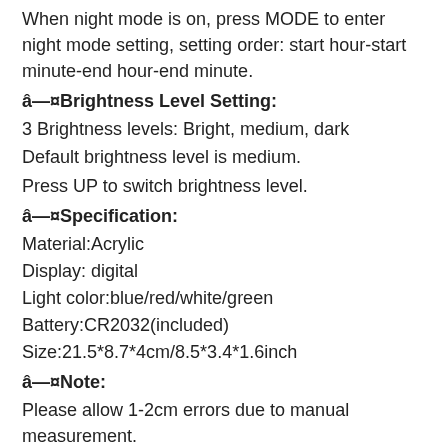When night mode is on, press MODE to enter night mode setting, setting order: start hour-start minute-end hour-end minute.
â¤Brightness Level Setting:
3 Brightness levels: Bright, medium, dark
Default brightness level is medium.
Press UP to switch brightness level.
â¤Specification:
Material:Acrylic
Display: digital
Light color:blue/red/white/green
Battery:CR2032(included)
Size:21.5*8.7*4cm/8.5*3.4*1.6inch
â¤Note:
Please allow 1-2cm errors due to manual measurement.